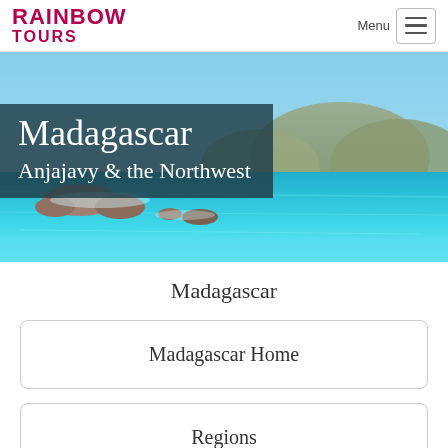RAINBOW TOURS
[Figure (photo): Scenic coastal photo of Madagascar showing turquoise water, rocky shoreline, and hills in the background under a blue sky, with overlaid text 'Madagascar Anjajavy & the Northwest']
Madagascar
Madagascar Home
Regions